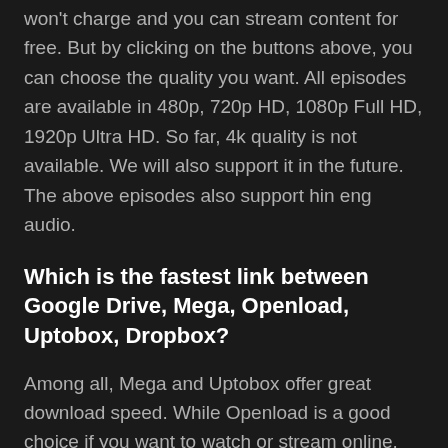won't charge and you can stream content for free. But by clicking on the buttons above, you can choose the quality you want. All episodes are available in 480p, 720p HD, 1080p Full HD, 1920p Ultra HD. So far, 4k quality is not available. We will also support it in the future. The above episodes also support hin eng audio.
Which is the fastest link between Google Drive, Mega, Openload, Uptobox, Dropbox?
Among all, Mega and Uptobox offer great download speed. While Openload is a good choice if you want to watch or stream online. Google Drive (Gdrive) is best if you want to watch partially. Because, Google